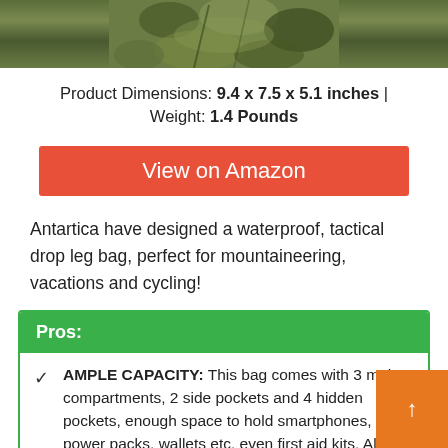[Figure (photo): Partial photo of a camouflage tactical drop leg bag, cropped at the top]
Product Dimensions: 9.4 x 7.5 x 5.1 inches | Weight: 1.4 Pounds
[Figure (other): Red/orange button labeled 'View on Amazon']
Antartica have designed a waterproof, tactical drop leg bag, perfect for mountaineering, vacations and cycling!
Pros:
AMPLE CAPACITY: This bag comes with 3 main compartments, 2 side pockets and 4 hidden pockets, enough space to hold smartphones, power packs, wallets etc. even first aid kits. All you could need!